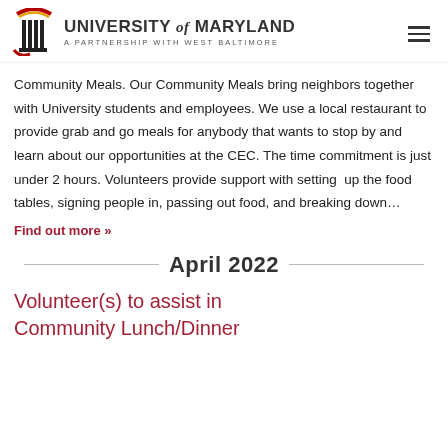University of Maryland — A Partnership with West Baltimore
Community Meals. Our Community Meals bring neighbors together with University students and employees. We use a local restaurant to provide grab and go meals for anybody that wants to stop by and learn about our opportunities at the CEC. The time commitment is just under 2 hours. Volunteers provide support with setting up the food tables, signing people in, passing out food, and breaking down…
Find out more »
April 2022
Volunteer(s) to assist in Community Lunch/Dinner